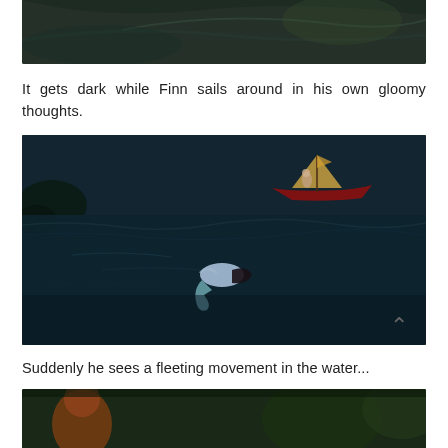[Figure (screenshot): Dark moody screenshot from a game or animated film showing a dark green/teal scene, partially visible at top of page]
It gets dark while Finn sails around in his own gloomy thoughts.
[Figure (screenshot): Screenshot from a game or animated film showing a dark teal water scene with a red sailboat in the upper right and a mermaid or swimmer figure floating in the dark water below]
Suddenly he sees a fleeting movement in the water...
[Figure (screenshot): Partial screenshot at bottom of page showing another dark scene, cut off]